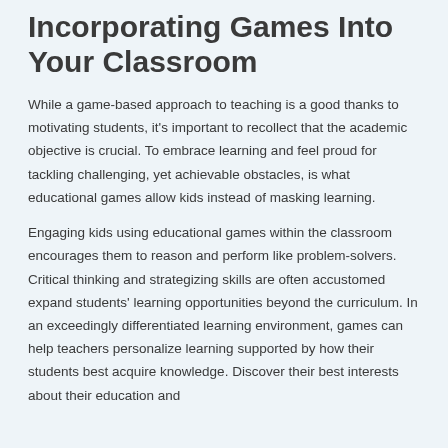Incorporating Games Into Your Classroom
While a game-based approach to teaching is a good thanks to motivating students, it's important to recollect that the academic objective is crucial. To embrace learning and feel proud for tackling challenging, yet achievable obstacles, is what educational games allow kids instead of masking learning.
Engaging kids using educational games within the classroom encourages them to reason and perform like problem-solvers. Critical thinking and strategizing skills are often accustomed expand students' learning opportunities beyond the curriculum. In an exceedingly differentiated learning environment, games can help teachers personalize learning supported by how their students best acquire knowledge. Discover their best interests about their education and...